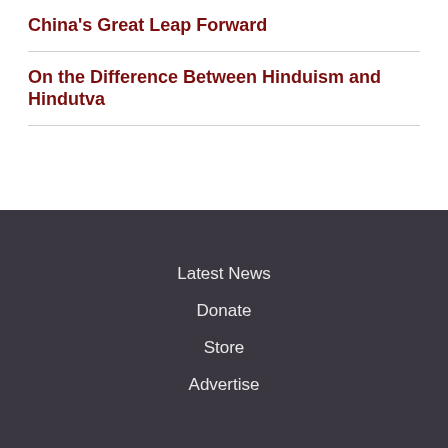China's Great Leap Forward
On the Difference Between Hinduism and Hindutva
Latest News
Donate
Store
Advertise